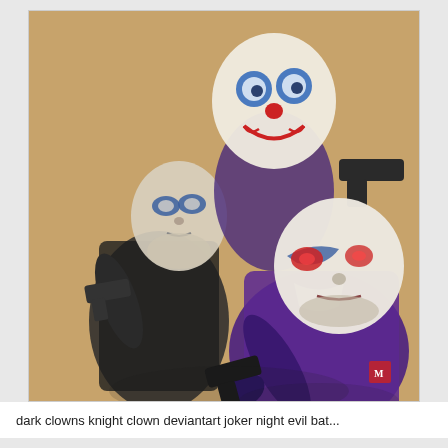[Figure (illustration): A detailed pencil/pastel drawing on tan/brown paper showing three menacing clown-masked figures holding guns, reminiscent of The Dark Knight Joker's bank robbers. The leftmost figure wears a pale clown mask with blue markings and holds a gun, dressed in dark clothing. The center-top figure wears a white clown mask with big blue eyes and red lips/nose, holding a gun pointed right. The foreground right figure wears a white mask with blue and red markings, dressed in purple, pointing a gun forward at the viewer. Artist seal visible in lower right.]
dark clowns knight clown deviantart joker night evil bat...